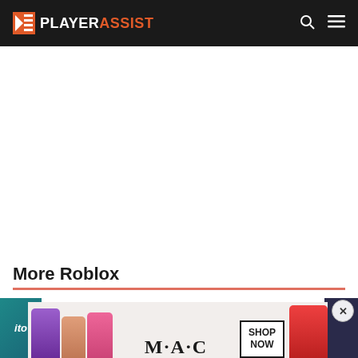PLAYERASSIST
More Roblox
[Figure (screenshot): Thumbnail image with bold stylized text on dark/white background, partially showing a Roblox-related article thumbnail]
[Figure (screenshot): MAC cosmetics advertisement showing lipsticks with SHOP NOW button]